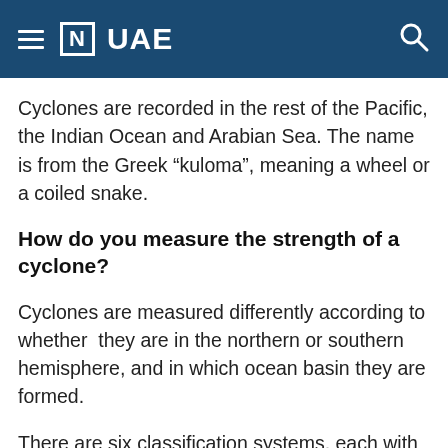[N] UAE
Cyclones are recorded in the rest of the Pacific, the Indian Ocean and Arabian Sea. The name is from the Greek “kuloma”, meaning a wheel or a coiled snake.
How do you measure the strength of a cyclone?
Cyclones are measured differently according to whether they are in the northern or southern hemisphere, and in which ocean basin they are formed.
There are six classification systems, each with its own terminology and wind-speed breakdowns.